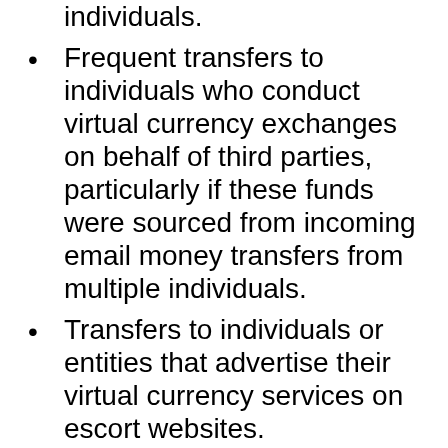money transfers from multiple individuals.
Frequent transfers to individuals who conduct virtual currency exchanges on behalf of third parties, particularly if these funds were sourced from incoming email money transfers from multiple individuals.
Transfers to individuals or entities that advertise their virtual currency services on escort websites.
Frequent purchases and/or payments to online gambling/online casino platforms, particularly if these funds